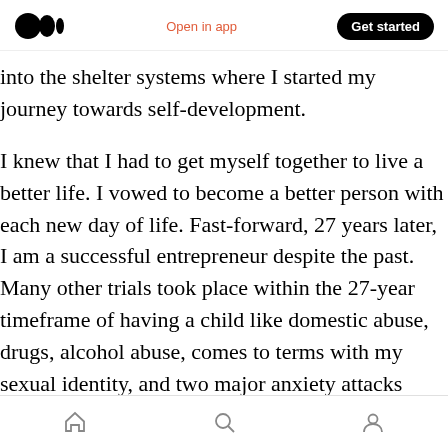Medium logo | Open in app | Get started
into the shelter systems where I started my journey towards self-development.
I knew that I had to get myself together to live a better life. I vowed to become a better person with each new day of life. Fast-forward, 27 years later, I am a successful entrepreneur despite the past. Many other trials took place within the 27-year timeframe of having a child like domestic abuse, drugs, alcohol abuse, comes to terms with my sexual identity, and two major anxiety attacks
My uprise from these challenges has made me a
Home | Search | Profile